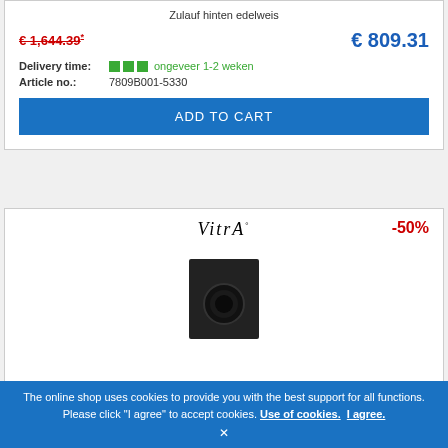Zulauf hinten edelweis
€ 1,644.39* (old price, strikethrough)
€ 809.31 (new price)
Delivery time: ongeveer 1-2 weken
Article no.: 7809B001-5330
ADD TO CART
[Figure (logo): VitrA brand logo in italic serif font]
-50%
[Figure (photo): Black square wall fitting/pipe connector product photo]
The online shop uses cookies to provide you with the best support for all functions. Please click "I agree" to accept cookies. Use of cookies. I agree.